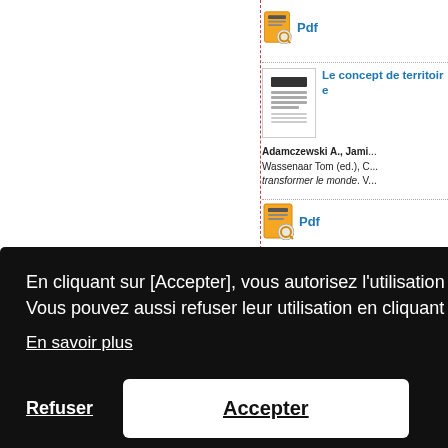[Figure (screenshot): Left white column with dashed red vertical separator line]
[Figure (screenshot): PDF icon with blue 'Pdf' text link in right column]
[Figure (screenshot): Document thumbnail image for 'Le concept de territoire...' entry]
Le concept de territoir...
Adamczewski A., Jami... Wassenaar Tom (ed.), C... transformer le monde. V...
[Figure (screenshot): PDF icon with blue 'Pdf' text link]
information...
, Srisopapо... Redefining e... it in dynamic...
6/B978-0-12...
En cliquant sur [Accepter], vous autorisez l'utilisation des cookies qui analysent la fréquentation du site. Vous pouvez aussi refuser leur utilisation en cliquant sur [Refuser] :
En savoir plus
Refuser
Accepter
POUR LE DEVELOPPEMENT
Site du...
Annua...